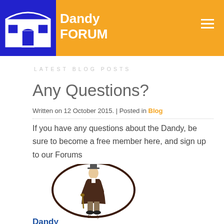Dandy FORUM
LATEST BLOG POSTS
Any Questions?
Written on 12 October 2015. | Posted in Blog
If you have any questions about the Dandy, be sure to become a free member here, and sign up to our Forums
[Figure (illustration): Oval-framed illustration of a Victorian gentleman in top hat and coat holding a cane, with 'Dandy' text below the oval]
Dandy